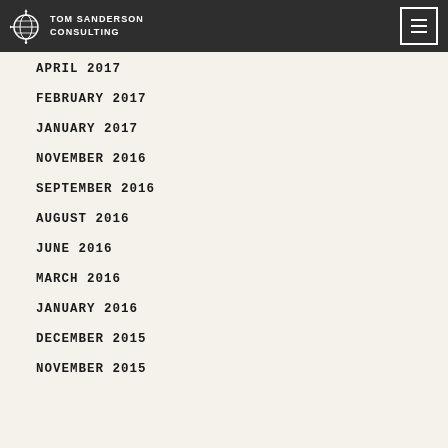TOM SANDERSON CONSULTING
APRIL 2017
FEBRUARY 2017
JANUARY 2017
NOVEMBER 2016
SEPTEMBER 2016
AUGUST 2016
JUNE 2016
MARCH 2016
JANUARY 2016
DECEMBER 2015
NOVEMBER 2015